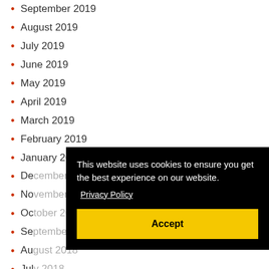September 2019
August 2019
July 2019
June 2019
May 2019
April 2019
March 2019
February 2019
January 2019
December 2018
November 2018
October 2018
September 2018
August 2018
July 2018
June 2018
May 2018
April 2018
This website uses cookies to ensure you get the best experience on our website. Privacy Policy
Accept